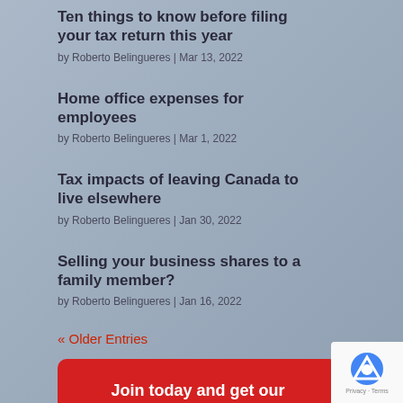Ten things to know before filing your tax return this year
by Roberto Belingueres | Mar 13, 2022
Home office expenses for employees
by Roberto Belingueres | Mar 1, 2022
Tax impacts of leaving Canada to live elsewhere
by Roberto Belingueres | Jan 30, 2022
Selling your business shares to a family member?
by Roberto Belingueres | Jan 16, 2022
« Older Entries
Join today and get our latest posts & newsletter delivered each week